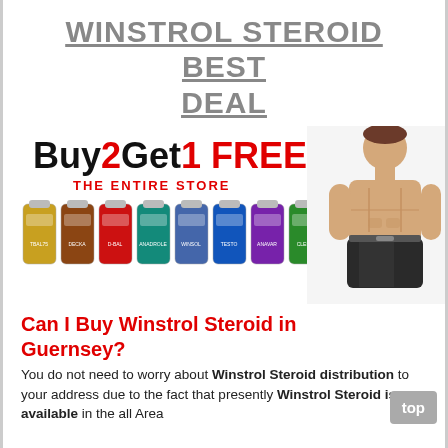WINSTROL STEROID BEST DEAL
[Figure (infographic): Buy2Get1 FREE promotion banner with supplement bottles and a muscular male athlete]
Can I Buy Winstrol Steroid in Guernsey?
You do not need to worry about Winstrol Steroid distribution to your address due to the fact that presently Winstrol Steroid is available in the all Area